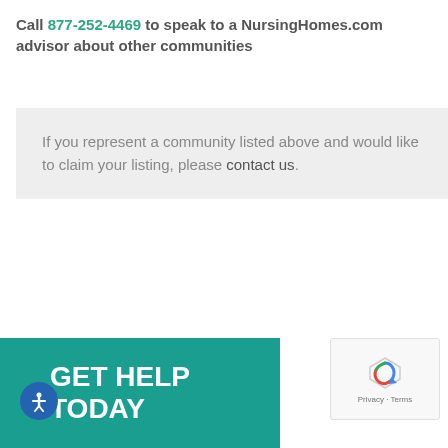Call 877-252-4469 to speak to a NursingHomes.com advisor about other communities
If you represent a community listed above and would like to claim your listing, please contact us.
[Figure (other): GET HELP TODAY teal banner advertisement]
[Figure (other): reCAPTCHA privacy widget with spinning logo and Privacy · Terms text]